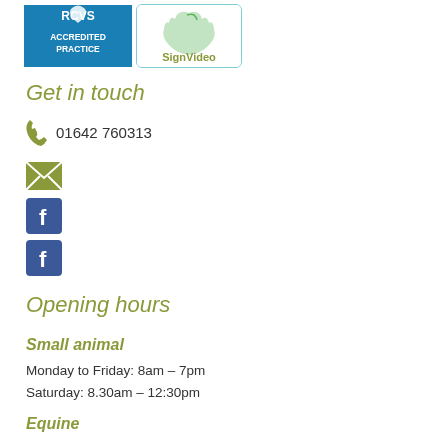[Figure (logo): RCVS Accredited Practice badge and SignVideo logo side by side]
Get in touch
01642 760313
[Figure (logo): Email envelope icon]
[Figure (logo): Facebook icon 1]
[Figure (logo): Facebook icon 2]
Opening hours
Small animal
Monday to Friday: 8am – 7pm
Saturday: 8.30am – 12:30pm
Equine